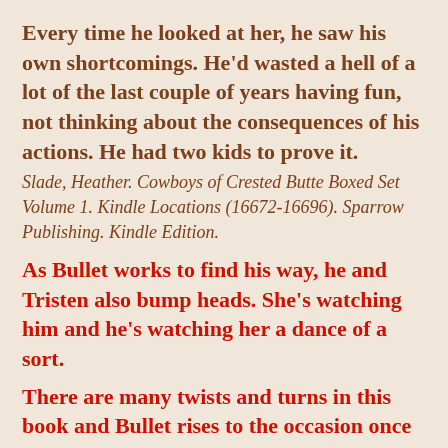Every time he looked at her, he saw his own shortcomings. He'd wasted a hell of a lot of the last couple of years having fun, not thinking about the consequences of his actions. He had two kids to prove it.
Slade, Heather. Cowboys of Crested Butte Boxed Set Volume 1. Kindle Locations (16672-16696). Sparrow Publishing. Kindle Edition.
As Bullet works to find his way, he and Tristen also bump heads. She's watching him and he's watching her a dance of a sort.
There are many twists and turns in this book and Bullet rises to the occasion once he realizes what he really wants. It's not a surprise that he gets together with Tristen and the way it happens is almost typical for this